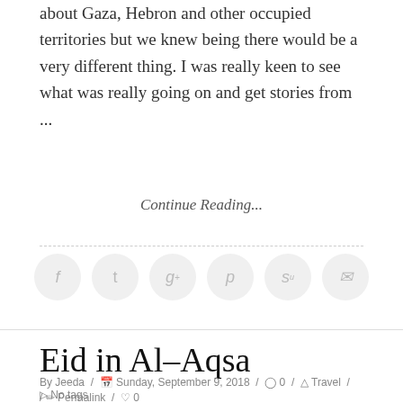about Gaza, Hebron and other occupied territories but we knew being there would be a very different thing. I was really keen to see what was really going on and get stories from ...
Continue Reading...
[Figure (infographic): Six circular social media icon buttons (Facebook, Twitter, Google+, Pinterest, StumbleUpon, Email) in light grey]
Eid in Al-Aqsa
By Jeeda / Sunday, September 9, 2018 / 0 / Travel / No tags / Permalink / 0